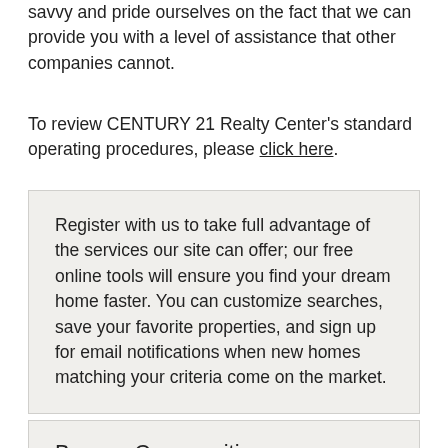savvy and pride ourselves on the fact that we can provide you with a level of assistance that other companies cannot.
To review CENTURY 21 Realty Center's standard operating procedures, please click here.
Register with us to take full advantage of the services our site can offer; our free online tools will ensure you find your dream home faster. You can customize searches, save your favorite properties, and sign up for email notifications when new homes matching your criteria come on the market.
Browse Communities